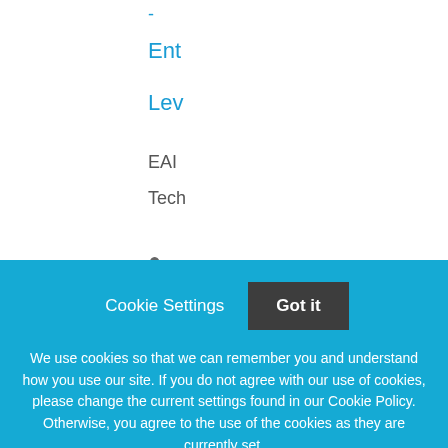-
Ent
Lev
EAI
Tech
Vie
VA
Ent
Cookie Settings   Got it

We use cookies so that we can remember you and understand how you use our site. If you do not agree with our use of cookies, please change the current settings found in our Cookie Policy. Otherwise, you agree to the use of the cookies as they are currently set.